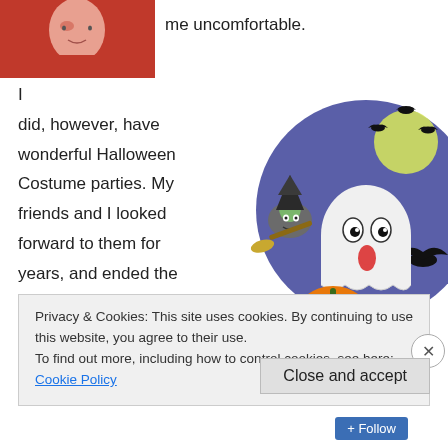[Figure (photo): Partial photo of a person wearing a red top, cropped to show upper body/face area]
me uncomfortable.
I did, however, have wonderful Halloween Costume parties. My friends and I looked forward to them for years, and ended the evening by going out 'Trick or Treating'.
[Figure (illustration): Halloween clipart illustration showing a cartoon ghost with tongue out, a witch on a broomstick, a jack-o-lantern pumpkin, bats, and a full moon against a blue/purple background]
The following poem was written by my friend Hans Muller
Privacy & Cookies: This site uses cookies. By continuing to use this website, you agree to their use.
To find out more, including how to control cookies, see here: Cookie Policy
Close and accept